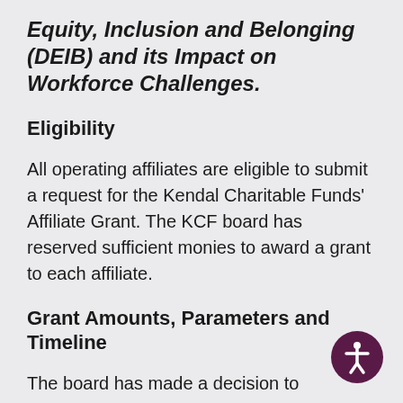Equity, Inclusion and Belonging (DEIB) and its Impact on Workforce Challenges.
Eligibility
All operating affiliates are eligible to submit a request for the Kendal Charitable Funds' Affiliate Grant. The KCF board has reserved sufficient monies to award a grant to each affiliate.
Grant Amounts, Parameters and Timeline
The board has made a decision to